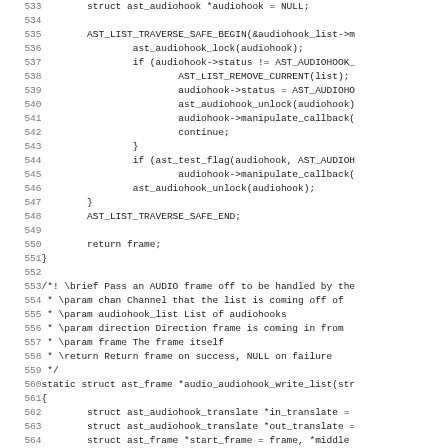[Figure (screenshot): Source code listing (C language) with line numbers 533–564+, showing audiohook list traversal, manipulation callbacks, and start of audio_audiohook_write_list function with doxygen comment block.]